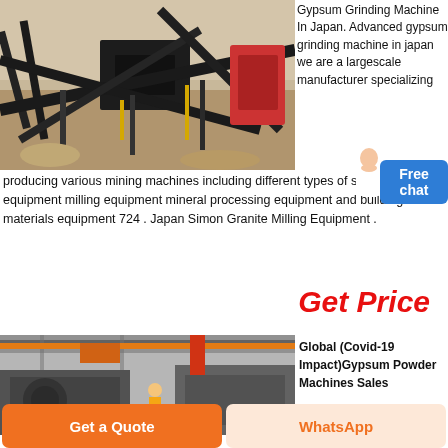[Figure (photo): Aerial view of a large mining/crushing plant with conveyors, machinery, and construction site in rocky terrain]
Gypsum Grinding Machine In Japan. Advanced gypsum grinding machine in japan we are a largescale manufacturer specializing producing various mining machines including different types of sand and equipment milling equipment mineral processing equipment and building materials equipment 724 . Japan Simon Granite Milling Equipment .
Get Price
[Figure (photo): Interior of a large industrial factory/workshop with heavy machinery and overhead crane structure]
Global (Covid-19 Impact)Gypsum Powder Machines Sales
Get a Quote
WhatsApp